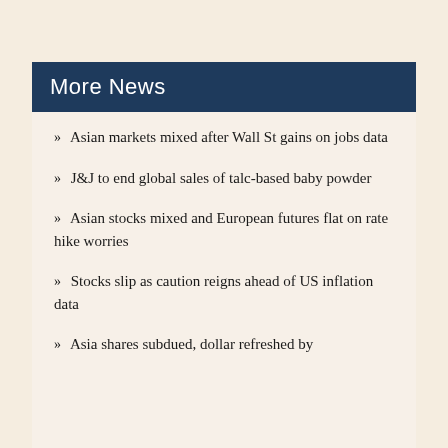More News
Asian markets mixed after Wall St gains on jobs data
J&J to end global sales of talc-based baby powder
Asian stocks mixed and European futures flat on rate hike worries
Stocks slip as caution reigns ahead of US inflation data
Asia shares subdued, dollar refreshed by